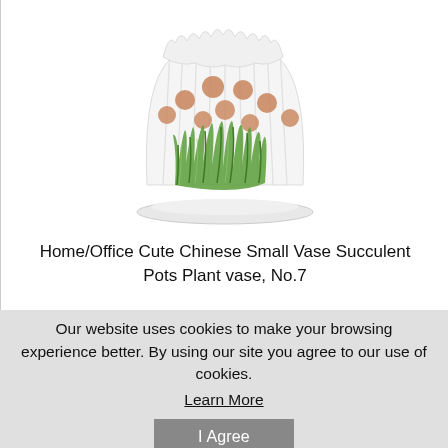[Figure (illustration): White ceramic flower pot with scalloped rim, brown dot decorations, green grass painted at the base, sitting on a matching white saucer. Chinese-style succulent planter.]
Home/Office Cute Chinese Small Vase Succulent Pots Plant vase, No.7
Our website uses cookies to make your browsing experience better. By using our site you agree to our use of cookies.
Learn More
I Agree